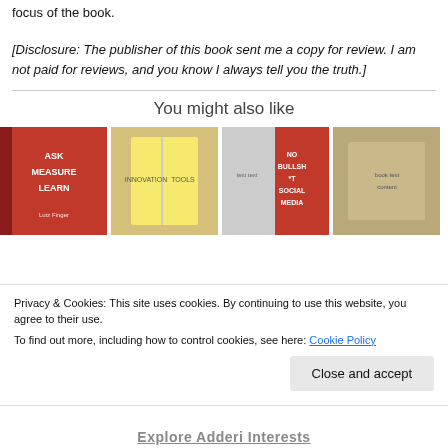focus of the book.
[Disclosure: The publisher of this book sent me a copy for review. I am not paid for reviews, and you know I always tell you the truth.]
You might also like
[Figure (photo): Four book cover images displayed in a horizontal row: 'Ask Measure Learn' (red cover), a yellow book being held open, 'No Bullsh*t Social Media' (red cover), and a fourth book being held.]
Privacy & Cookies: This site uses cookies. By continuing to use this website, you agree to their use.
To find out more, including how to control cookies, see here: Cookie Policy
Close and accept
Explore Adderi Interests